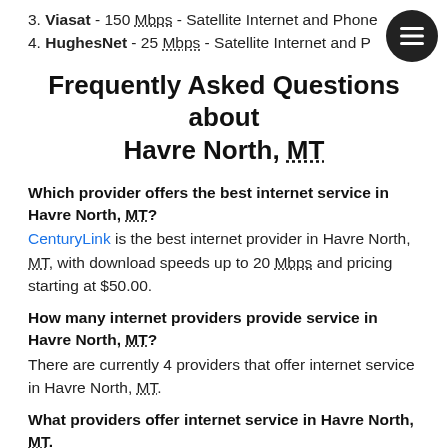3. Viasat - 150 Mbps - Satellite Internet and Phone
4. HughesNet - 25 Mbps - Satellite Internet and Phone
Frequently Asked Questions about Havre North, MT
Which provider offers the best internet service in Havre North, MT?
CenturyLink is the best internet provider in Havre North, MT, with download speeds up to 20 Mbps and pricing starting at $50.00.
How many internet providers provide service in Havre North, MT?
There are currently 4 providers that offer internet service in Havre North, MT.
What providers offer internet service in Havre North, MT.
Spectrum, Viasat, CenturyLink and HughesNet offer